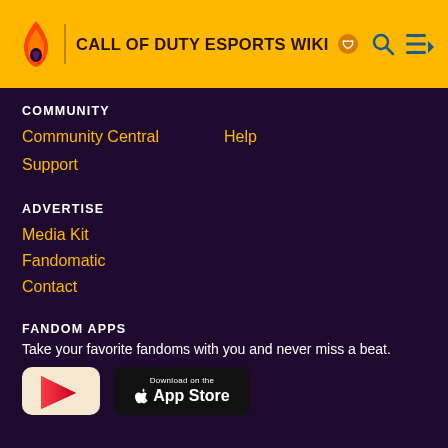CALL OF DUTY ESPORTS WIKI
COMMUNITY
Community Central
Help
Support
ADVERTISE
Media Kit
Fandomatic
Contact
FANDOM APPS
Take your favorite fandoms with you and never miss a beat.
[Figure (logo): News app icon with red/pink arrow on cream background]
[Figure (logo): Download on the App Store badge, black background]